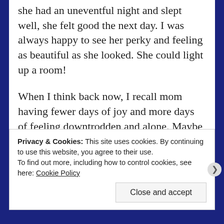she had an uneventful night and slept well, she felt good the next day. I was always happy to see her perky and feeling as beautiful as she looked. She could light up a room!
When I think back now, I recall mom having fewer days of joy and more days of feeling downtrodden and alone. Maybe she suffered from depression. I don't know. What I do know is her smile, once broad, her eyes, lively and bright, diminished over time. Although mom put on a happy face for us, deep down I knew she longed
Privacy & Cookies: This site uses cookies. By continuing to use this website, you agree to their use.
To find out more, including how to control cookies, see here: Cookie Policy
Close and accept